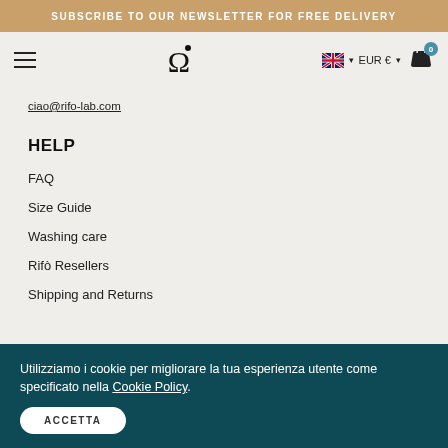SUBSCRIBE TO OUR NEWSLETTER FOR FREE DELIVERY
[Figure (screenshot): Navigation bar with hamburger menu, Rifò logo (omega symbol), UK flag with EUR currency selector, and shopping bag icon with 0 badge]
ciao@rifo-lab.com
HELP
FAQ
Size Guide
Washing care
Rifò Resellers
Shipping and Returns
Utilizziamo i cookie per migliorare la tua esperienza utente come specificato nella Cookie Policy.
ACCETTA